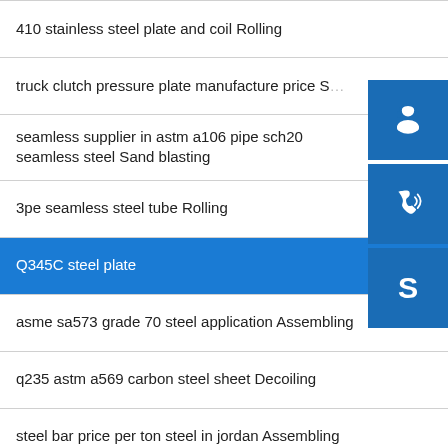410 stainless steel plate and coil Rolling
truck clutch pressure plate manufacture price S...
seamless supplier in astm a106 pipe sch20 seamless steel Sand blasting
3pe seamless steel tube Rolling
Q345C steel plate
asme sa573 grade 70 steel application Assembling
q235 astm a569 carbon steel sheet Decoiling
steel bar price per ton steel in jordan Assembling